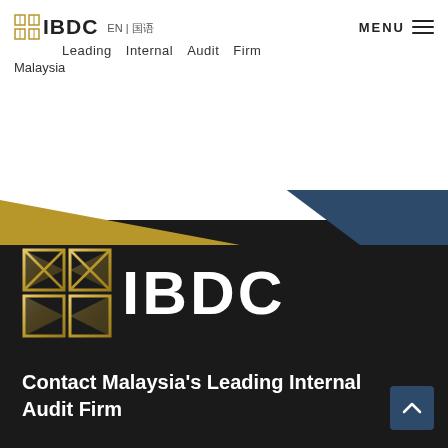IBDC EN | 国语 Leading Internal Audit Firm Malaysia MENU
[Figure (logo): IBDC logo with golden geometric grid icon and white IBDC text on dark background]
Contact Malaysia's Leading Internal Audit Firm